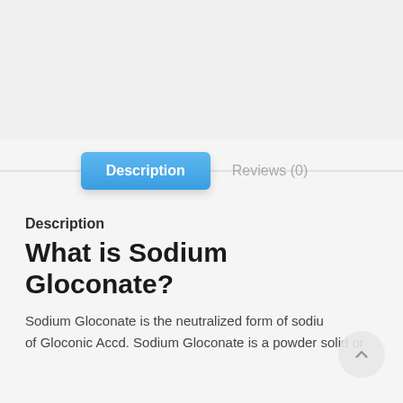[Figure (other): Top image area showing partial product image on light gray background]
Description | Reviews (0)
Description
What is Sodium Gloconate?
Sodium Gloconate is the neutralized form of sodium salt of Gloconic Accd. Sodium Gloconate is a powder solid or